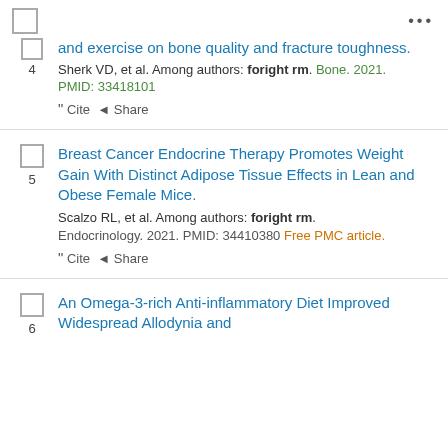and exercise on bone quality and fracture toughness. Sherk VD, et al. Among authors: foright rm. Bone. 2021. PMID: 33418101
Breast Cancer Endocrine Therapy Promotes Weight Gain With Distinct Adipose Tissue Effects in Lean and Obese Female Mice. Scalzo RL, et al. Among authors: foright rm. Endocrinology. 2021. PMID: 34410380 Free PMC article.
An Omega-3-rich Anti-inflammatory Diet Improved Widespread Allodynia and